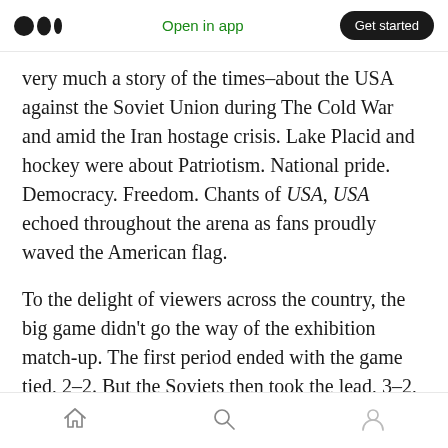Open in app  Get started
very much a story of the times–about the USA against the Soviet Union during The Cold War and amid the Iran hostage crisis. Lake Placid and hockey were about Patriotism. National pride. Democracy. Freedom. Chants of USA, USA echoed throughout the arena as fans proudly waved the American flag.
To the delight of viewers across the country, the big game didn't go the way of the exhibition match-up. The first period ended with the game tied, 2–2. But the Soviets then took the lead, 3–2, as the second period wound down. The outcome
Home  Search  Profile